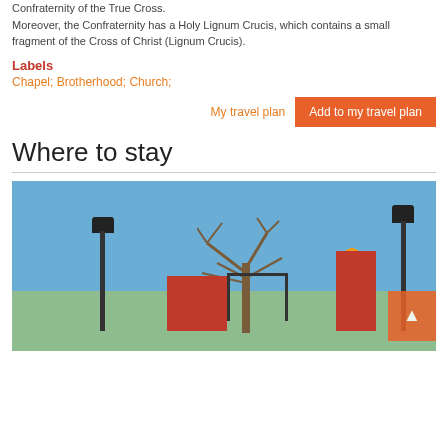Confraternity of the True Cross. Moreover, the Confraternity has a Holy Lignum Crucis, which contains a small fragment of the Cross of Christ (Lignum Crucis).
Labels
Chapel; Brotherhood; Church;
My travel plan  Add to my travel plan
Where to stay
[Figure (photo): Outdoor photo showing a clear blue sky, bare trees, red brick gate/building structure with orange arch detail, two black lamp posts, and a metal fence. A small orange scroll-up button is visible in the bottom right.]